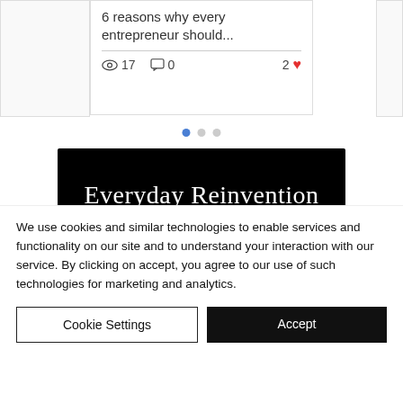6 reasons why every entrepreneur should...
17  0  2
[Figure (screenshot): Pagination dots: one blue active dot and two grey dots]
[Figure (logo): Black banner with white cursive script text: Everyday Reinvention]
We use cookies and similar technologies to enable services and functionality on our site and to understand your interaction with our service. By clicking on accept, you agree to our use of such technologies for marketing and analytics.
Cookie Settings
Accept